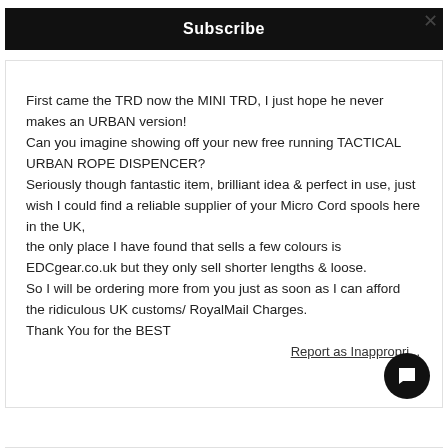Subscribe
First came the TRD now the MINI TRD, I just hope he never makes an URBAN version!
Can you imagine showing off your new free running TACTICAL URBAN ROPE DISPENCER?
Seriously though fantastic item, brilliant idea & perfect in use, just wish I could find a reliable supplier of your Micro Cord spools here in the UK,
the only place I have found that sells a few colours is EDCgear.co.uk but they only sell shorter lengths & loose.
So I will be ordering more from you just as soon as I can afford the ridiculous UK customs/ RoyalMail Charges.
Thank You for the BEST
Report as Inappropri...